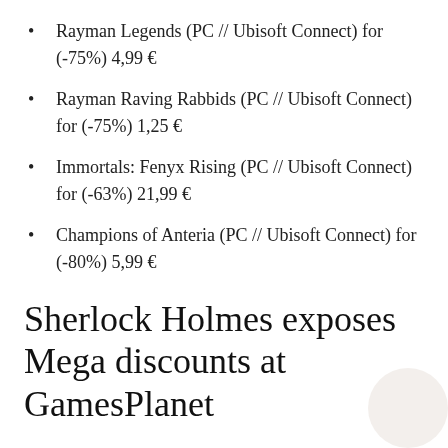Rayman Legends (PC // Ubisoft Connect) for (-75%) 4,99 €
Rayman Raving Rabbids (PC // Ubisoft Connect) for (-75%) 1,25 €
Immortals: Fenyx Rising (PC // Ubisoft Connect) for (-63%) 21,99 €
Champions of Anteria (PC // Ubisoft Connect) for (-80%) 5,99 €
Sherlock Holmes exposes Mega discounts at GamesPlanet
Sherlock Holmes Chapter One (PC // Steam) for (-27%) 32,99 €